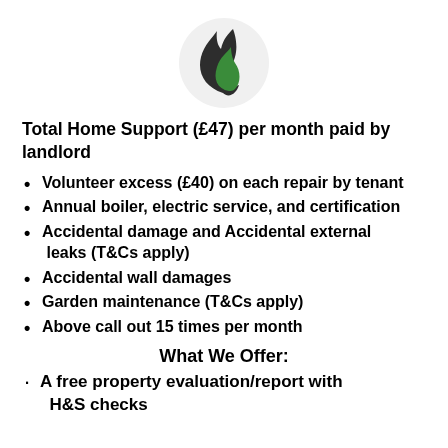[Figure (logo): Flame and leaf logo inside a light grey circle — a dark charcoal/black flame on the left and a green leaf on the right]
Total Home Support (£47) per month paid by landlord
Volunteer excess (£40) on each repair by tenant
Annual boiler, electric service, and certification
Accidental damage and Accidental external leaks (T&Cs apply)
Accidental wall damages
Garden maintenance (T&Cs apply)
Above call out 15 times per month
What We Offer:
A free property evaluation/report with H&S checks